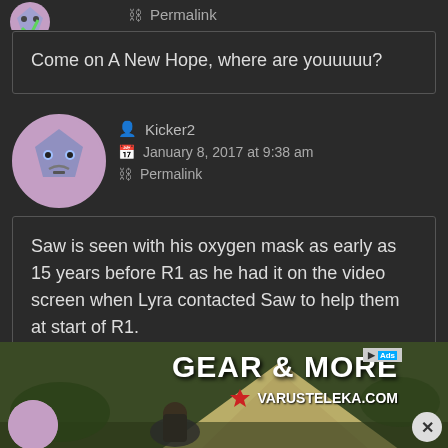Permalink
Come on A New Hope, where are youuuuu?
Kicker2
January 8, 2017 at 9:38 am
Permalink
Saw is seen with his oxygen mask as early as 15 years before R1 as he had it on the video screen when Lyra contacted Saw to help them at start of R1.
[Figure (photo): Outdoor camping advertisement for Varusteleka.com showing a man in tactical gear sitting by a tent]